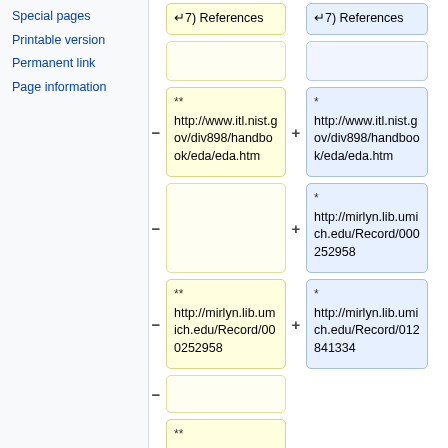Special pages
Printable version
Permanent link
Page information
[Figure (screenshot): Wikipedia diff view showing two columns with wiki diff entries. Left column (removed, yellow background) and right column (added, blue background). Rows show: header row with '7) References' in both columns; empty row; row with '**' marker and URL http://www.itl.nist.gov/div898/handbook/eda/eda.htm in both columns; empty left / '*' http://mirlyn.lib.umich.edu/Record/000252958 right; '**' http://mirlyn.lib.umich.edu/Record/000252958 left / '*' http://mirlyn.lib.umich.edu/Record/012841334 right; empty left; '**' http://mirlyn.lib.umich.edu/Record (truncated) left.]